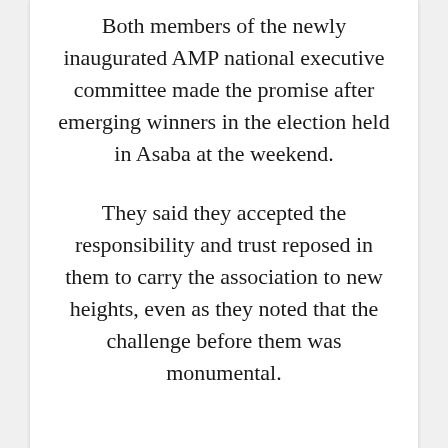Both members of the newly inaugurated AMP national executive committee made the promise after emerging winners in the election held in Asaba at the weekend.
They said they accepted the responsibility and trust reposed in them to carry the association to new heights, even as they noted that the challenge before them was monumental.